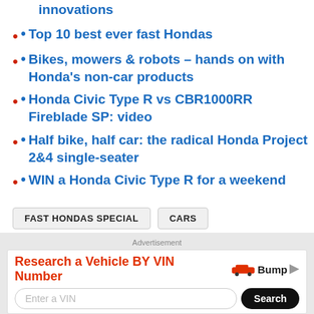innovations
• Top 10 best ever fast Hondas
• Bikes, mowers & robots – hands on with Honda's non-car products
• Honda Civic Type R vs CBR1000RR Fireblade SP: video
• Half bike, half car: the radical Honda Project 2&4 single-seater
• WIN a Honda Civic Type R for a weekend
FAST HONDAS SPECIAL   CARS
Advertisement
Research a Vehicle BY VIN Number  Bump  Enter a VIN  Search